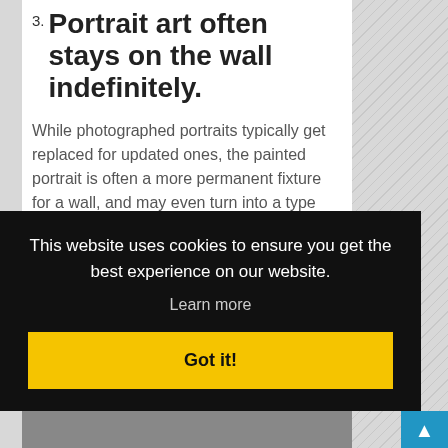3. Portrait art often stays on the wall indefinitely.

While photographed portraits typically get replaced for updated ones, the painted portrait is often a more permanent fixture for a wall, and may even turn into a type of heirloom.
4. Portraits are amazing for promotion
This website uses cookies to ensure you get the best experience on our website. Learn more
Got it!